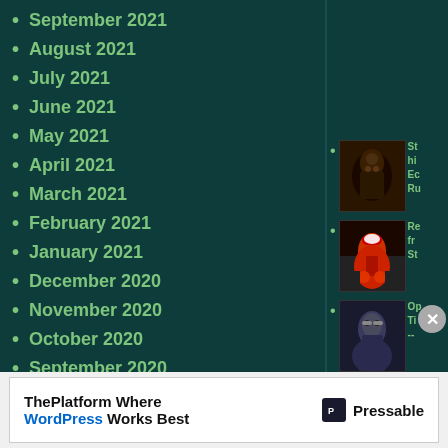September 2021
August 2021
July 2021
June 2021
May 2021
April 2021
March 2021
February 2021
January 2021
December 2020
November 2020
October 2020
September 2020
[Figure (photo): Thumbnail image 1 - dark textured image]
St hi Ec Ru
[Figure (photo): Thumbnail image 2 - Santa Claus scene]
Re fr St
[Figure (photo): Thumbnail image 3 - man with glasses]
Op Ti --
[Figure (photo): Thumbnail image 4 - Westlike colorful poster]
Advertisement: ThePlatform Where WordPress Works Best - Pressable